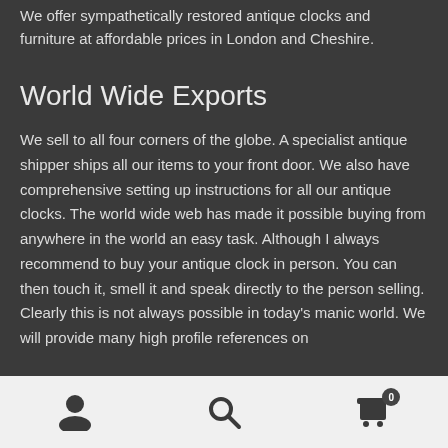We offer sympathetically restored antique clocks and furniture at affordable prices in London and Cheshire.
World Wide Exports
We sell to all four corners of the globe. A specialist antique shipper ships all our items to your front door. We also have comprehensive setting up instructions for all our antique clocks. The world wide web has made it possible buying from anywhere in the world an easy task. Although I always recommend to buy your antique clock in person. You can then touch it, smell it and speak directly to the person selling. Clearly this is not always possible in today's manic world. We will provide many high profile references on
Navigation icons: user, search, cart (0)